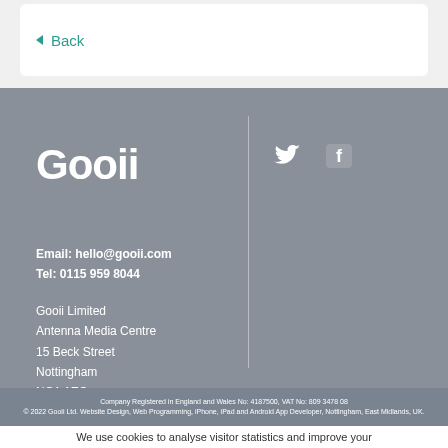< Back
Gooii
[Figure (logo): Twitter bird icon and Facebook 'f' icon in white on grey background]
Email: hello@gooii.com
Tel: 0115 959 8044
Gooii Limited
Antenna Media Centre
15 Beck Street
Nottingham
NG1 1EQ
Company Registered in England and Wales No: 4187500, VAT No: 809 3478 08
© 2022 Gooii Ltd. Website Design, Web Programming, iPhone, iPad and Android App Developer, Nottingham, East Midlands, UK.
We use cookies to analyse visitor statistics and improve your